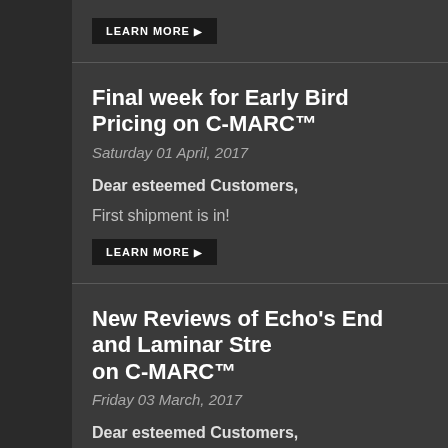LEARN MORE ▶
Final week for Early Bird Pricing on C-MARC™
Saturday 01 April, 2017
Dear esteemed Customers,
First shipment is in!
LEARN MORE ▶
New Reviews of Echo's End and Laminar Streamer on C-MARC™
Friday 03 March, 2017
Dear esteemed Customers,
6moons.com reviews Echo's End DAC and Laminar Streamer S
LEARN MORE ▶